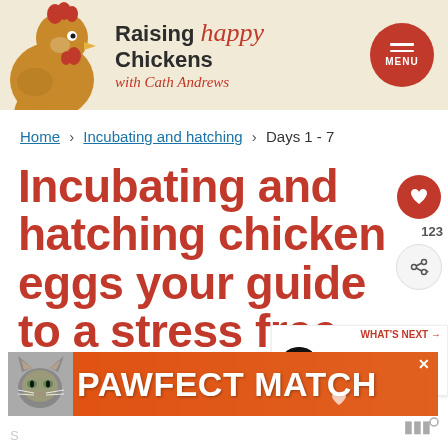[Figure (screenshot): Website header with chicken photo, 'Raising happy Chickens with Cath Andrews' logo, and red circular menu button]
Home › Incubating and hatching › Days 1 - 7
Incubating and hatching chicken eggs your guide to a stress free days 1 - 7.
[Figure (illustration): Social sharing sidebar with heart/like button showing 123 likes and share button]
[Figure (screenshot): 'WHAT'S NEXT' widget showing thumbnail image and text 'Candling eggs: how t...']
[Figure (screenshot): Advertisement banner: 'PAWFECT MATCH' with cat photo on orange background]